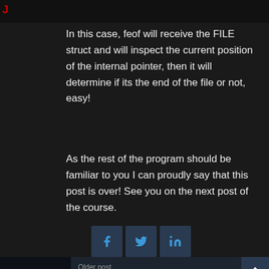[Figure (screenshot): Dark background image strip at the top with a small red element visible on the left side]
In this case, feof will receive the FILE struct and will inspect the current position of the internal pointer, then it will determine if its the end of the file or not, easy!
As the rest of the program should be familiar to you I can proudly say that this post is over! See you on the next post of the course.
[Figure (infographic): Social share icons row: Facebook, Twitter, LinkedIn — dark teal square buttons]
Older post
Reverse engineering 32 and